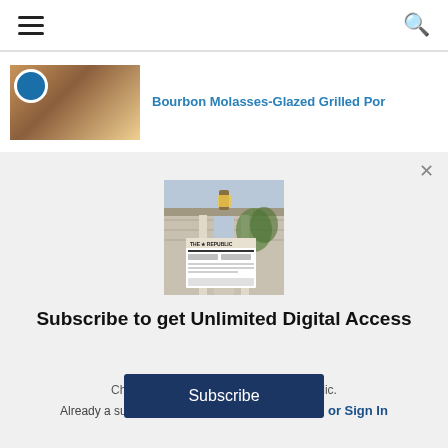Navigation bar with hamburger menu and search icon
[Figure (photo): Food photo showing bourbon molasses-glazed grilled pork with blue circular badge]
Bourbon Molasses-Glazed Grilled Por
[Figure (photo): Subscription modal showing image of a house porch with The Republic newspaper]
Subscribe to get Unlimited Digital Access
Choose your subscription to The Republic.
Already a subscriber?  Link your Subscription or Sign In
Subscribe